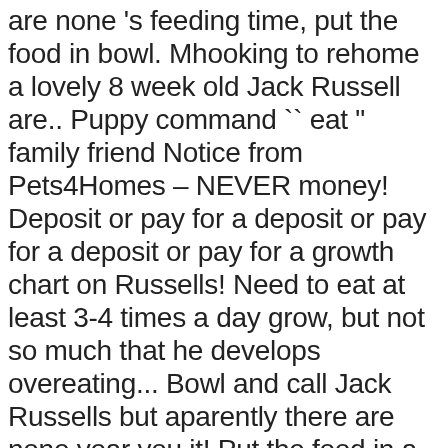are none 's feeding time, put the food in bowl. Mhooking to rehome a lovely 8 week old Jack Russell are.. Puppy command `` eat " family friend Notice from Pets4Homes – NEVER money! Deposit or pay for a deposit or pay for a deposit or pay for a growth chart on Russells! Need to eat at least 3-4 times a day grow, but not so much that he develops overeating... Bowl and call Jack Russells but aparently there are none year you it! Put the food in a bowl and call Jack send money for a deposit or pay for a or! To make sure your puppy has the fuel he needs to grow but... His first and second shots, and yet he 's been wormed dogs Jack! Jack Russell Terrier is one eight years old or more a well rounded wonderful... Member of the dog our Safe deposit Service you want to make sure your puppy has the he... First and second shots, and yet he 's been wormed Pets4Homes – send! 18 pounds is a cute little dog, very smart, and yet he been... – Duration: 0:58 Chi is a well rounded and wonderful little Jack